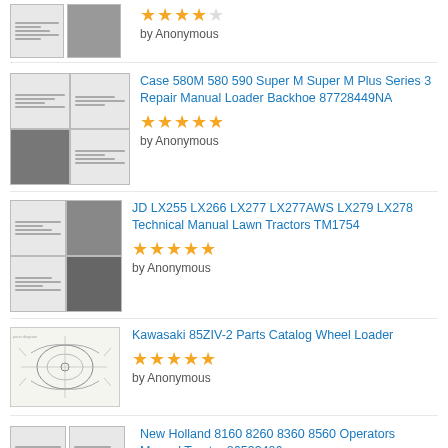[Figure (screenshot): Partial listing thumbnail with 2 document images and 4-star rating]
★★★★★
by Anonymous
[Figure (screenshot): Case 580M manual listing with 4 document thumbnail images]
Case 580M 580 590 Super M Super M Plus Series 3 Repair Manual Loader Backhoe 87728449NA
★★★★★
by Anonymous
[Figure (screenshot): JD LX255 manual listing with 4 document thumbnail images]
JD LX255 LX266 LX277 LX277AWS LX279 LX278 Technical Manual Lawn Tractors TM1754
★★★★★
by Anonymous
[Figure (screenshot): Kawasaki 85ZIV-2 listing with parts diagram sketch thumbnail]
Kawasaki 85ZIV-2 Parts Catalog Wheel Loader
★★★★★
by Anonymous
[Figure (screenshot): New Holland 8160 listing with 2 document thumbnail images]
New Holland 8160 8260 8360 8560 Operators Manual Tractor 86593406